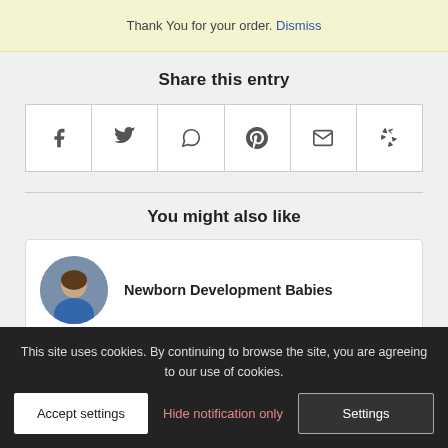Thank You for your order. Dismiss
Share this entry
[Figure (other): Row of social share icon buttons: Facebook, Twitter, WhatsApp, Pinterest, Email, Yelp]
You might also like
[Figure (other): Card with circular profile photo of a child and title Newborn Development Babies]
This site uses cookies. By continuing to browse the site, you are agreeing to our use of cookies.
Accept settings | Hide notification only | Settings